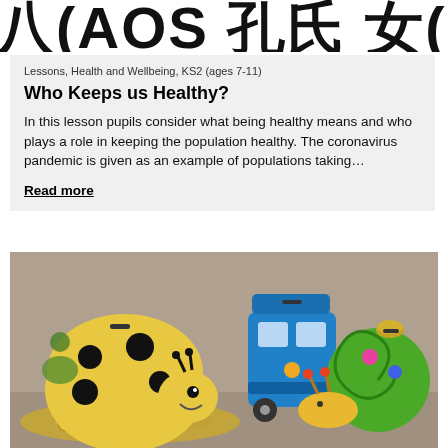八(AOS 孔氏 女(入WO)
Lessons, Health and Wellbeing, KS2 (ages 7-11)
Who Keeps us Healthy?
In this lesson pupils consider what being healthy means and who plays a role in keeping the population healthy. The coronavirus pandemic is given as an example of populations taking…
Read more
[Figure (photo): Colorful animal-shaped piggy banks (ladybug, train, snail) on a pile of coins]